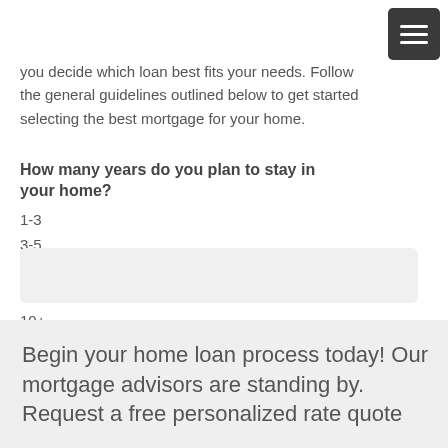you decide which loan best fits your needs. Follow the general guidelines outlined below to get started selecting the best mortgage for your home.
How many years do you plan to stay in your home?
1-3
3-5
5-7
7-10
10+
Begin your home loan process today! Our mortgage advisors are standing by. Request a free personalized rate quote